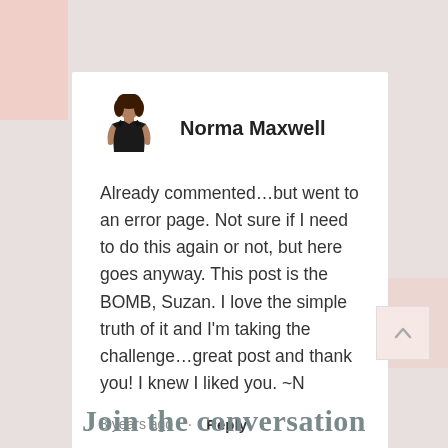[Figure (other): Avatar image of Norma Maxwell — a woman in a black tank top]
Norma Maxwell
Already commented…but went to an error page. Not sure if I need to do this again or not, but here goes anyway. This post is the BOMB, Suzan. I love the simple truth of it and I'm taking the challenge…great post and thank you! I knew I liked you. ~N
8 years ago · Reply
Join the conversation